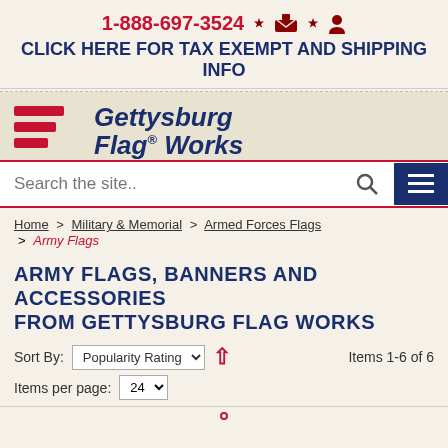1-888-697-3524
CLICK HERE FOR TAX EXEMPT AND SHIPPING INFO
[Figure (logo): Gettysburg Flag Works logo with red and white flag stripes and bold navy blue italic text]
Search the site..
Home > Military & Memorial > Armed Forces Flags > Army Flags
ARMY FLAGS, BANNERS AND ACCESSORIES FROM GETTYSBURG FLAG WORKS
Sort By: Popularity Rating  Items 1-6 of 6
Items per page: 24